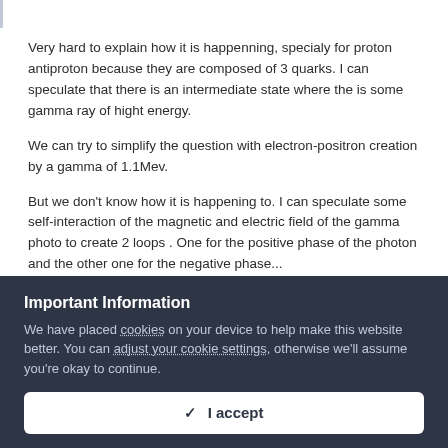Very hard to explain how it is happenning, specialy for proton antiproton because they are composed of 3 quarks. I can speculate that there is an intermediate state where the is some gamma ray of hight energy.
We can try to simplify the question with electron-positron creation by a gamma of 1.1Mev.
But we don't know how it is happening to. I can speculate some self-interaction of the magnetic and electric field of the gamma photo to create 2 loops . One for the positive phase of the photon and the other one for the negative phase...
Important Information
We have placed cookies on your device to help make this website better. You can adjust your cookie settings, otherwise we'll assume you're okay to continue.
✓  I accept